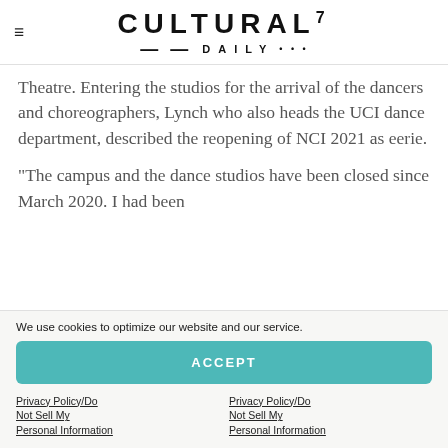CULTURAL⁷ —DAILY•••
Theatre. Entering the studios for the arrival of the dancers and choreographers, Lynch who also heads the UCI dance department, described the reopening of NCI 2021 as eerie.
“The campus and the dance studios have been closed since March 2020. I had been
We use cookies to optimize our website and our service.
ACCEPT
Privacy Policy/Do Not Sell My Personal Information
Privacy Policy/Do Not Sell My Personal Information